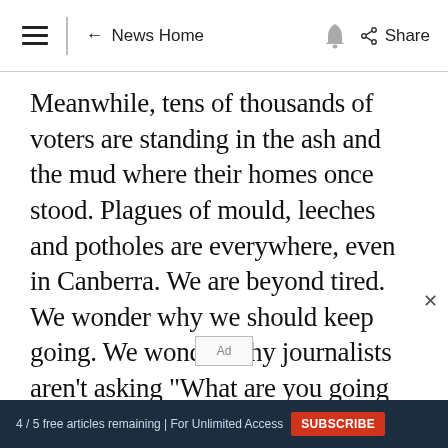≡  ← News Home  🔔  Share
Meanwhile, tens of thousands of voters are standing in the ash and the mud where their homes once stood. Plagues of mould, leeches and potholes are everywhere, even in Canberra. We are beyond tired. We wonder why we should keep going. We wonder why journalists aren't asking "What are you going to do about climate change?", and why the major parties aren't agreeing that this must be
4 / 5 free articles remaining | For Unlimited Access  SUBSCRIBE